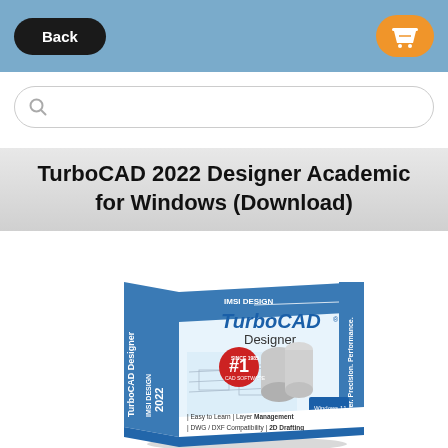Back | Cart
Search bar
TurboCAD 2022 Designer Academic for Windows (Download)
[Figure (photo): Product box image for TurboCAD 2022 Designer software showing box art with blueprints, rolled documents, IMSI Design branding, '#1 CAD Software' badge, and features: Easy to Learn, Layer Management, DWG/DXF Compatibility, 2D Drafting]